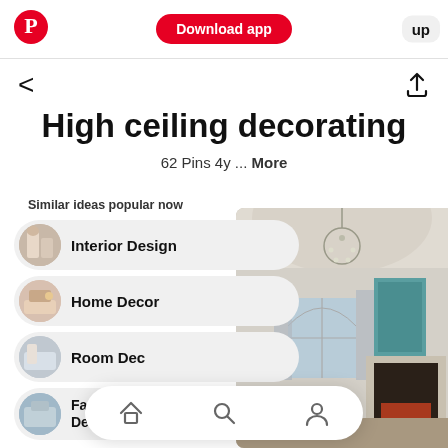Download app | up
< (back) and share icon
High ceiling decorating
62 Pins 4y ... More
Similar ideas popular now
Interior Design
Home Decor
Room Dec...
Family Ro... Design
[Figure (photo): High-ceiling living room with chandelier, arched windows, fireplace and teal accent artwork]
Home | Search | Profile navigation icons